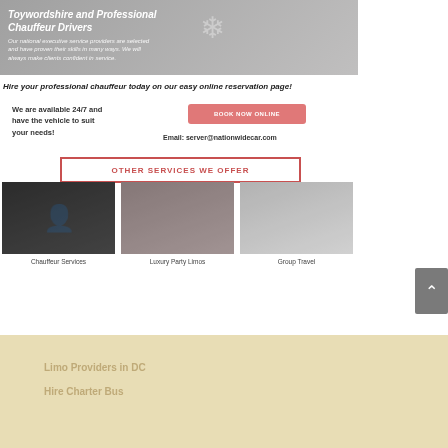[Figure (photo): Top banner image showing a dark background with text overlay about Towncar and professional chauffeur services, with a decorative snowflake graphic]
Hire your professional chauffeur today on our easy online reservation page!
We are available 24/7 and have the vehicle to suit your needs!
[Figure (other): Pink/red rounded button for online booking]
Email: server@nationwidecar.com
OTHER SERVICES WE OFFER
[Figure (photo): Chauffeur service thumbnail image]
[Figure (photo): Party limo / party bus thumbnail image]
[Figure (photo): Group travel / charter bus thumbnail image]
Chauffeur Services
Luxury Party Limos
Group Travel
[Figure (other): Back to top arrow button (gray)]
Limo Providers in DC
Hire Charter Bus